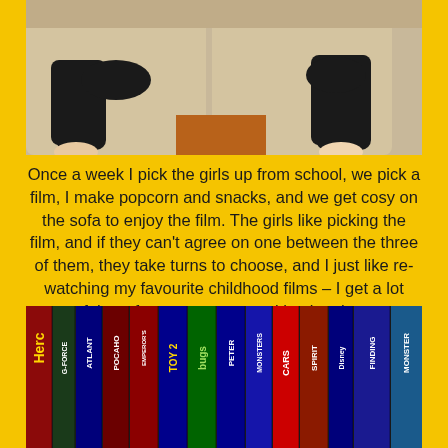[Figure (photo): Two children lying on a sofa/couch, viewed from above, wearing dark clothing]
Once a week I pick the girls up from school, we pick a film, I make popcorn and snacks, and we get cosy on the sofa to enjoy the film. The girls like picking the film, and if they can't agree on one between the three of them, they take turns to choose, and I just like re-watching my favourite childhood films – I get a lot more of the references now – and having the excuse to buy Disney DVDs (check out how I get FREE DVDs here!)
[Figure (photo): A collection of Disney DVD cases lined up showing their spines, including Hercules, Atlantis, G-Force, Pocahontas, The Emperor's New Groove, Toy Story 2, A Bug's Life, Peter Pan, Monsters Inc, Cars, Spirit, Finding Nemo, and others]